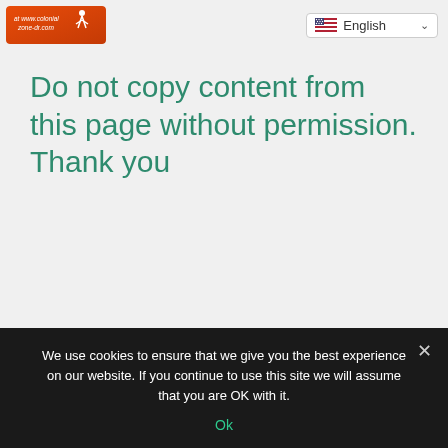[Figure (logo): Colonial Zone DR logo with orange/red gradient background and white stylized figure, text reads 'at www.colonialzone-dr.com']
[Figure (screenshot): Language selector dropdown showing US flag and 'English' with chevron]
Do not copy content from this page without permission. Thank you
We use cookies to ensure that we give you the best experience on our website. If you continue to use this site we will assume that you are OK with it.
Ok